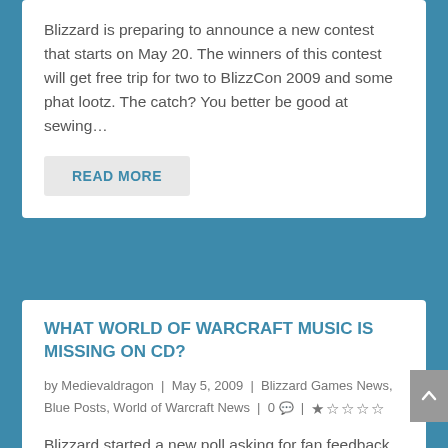Blizzard is preparing to announce a new contest that starts on May 20.  The winners of this contest will get free trip for two to BlizzCon 2009 and some phat lootz.  The catch?  You better be good at sewing…
READ MORE
WHAT WORLD OF WARCRAFT MUSIC IS MISSING ON CD?
by Medievaldragon | May 5, 2009 | Blizzard Games News, Blue Posts, World of Warcraft News | 0 | ★☆☆☆☆
Blizzard started a new poll asking for fan feedback. It is not openly implied, but it might be possible they are preparing a stand-alone